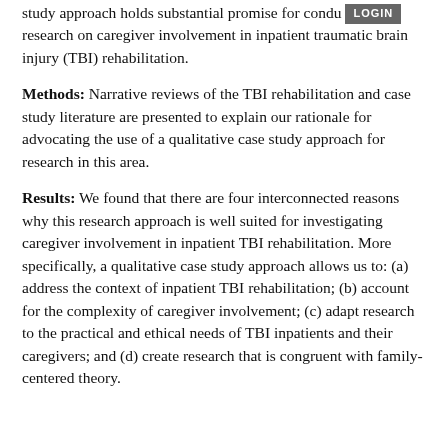study approach holds substantial promise for conducting research on caregiver involvement in inpatient traumatic brain injury (TBI) rehabilitation.
Methods: Narrative reviews of the TBI rehabilitation and case study literature are presented to explain our rationale for advocating the use of a qualitative case study approach for research in this area.
Results: We found that there are four interconnected reasons why this research approach is well suited for investigating caregiver involvement in inpatient TBI rehabilitation. More specifically, a qualitative case study approach allows us to: (a) address the context of inpatient TBI rehabilitation; (b) account for the complexity of caregiver involvement; (c) adapt research to the practical and ethical needs of TBI inpatients and their caregivers; and (d) create research that is congruent with family-centered theory.